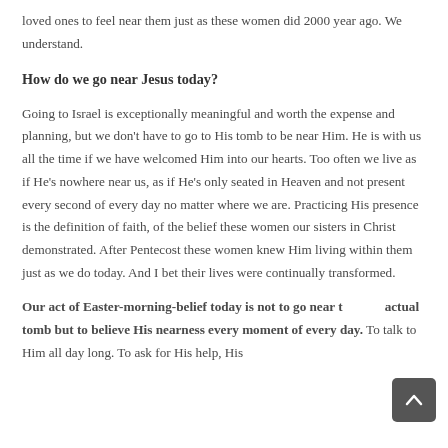loved ones to feel near them just as these women did 2000 year ago. We understand.
How do we go near Jesus today?
Going to Israel is exceptionally meaningful and worth the expense and planning, but we don't have to go to His tomb to be near Him. He is with us all the time if we have welcomed Him into our hearts. Too often we live as if He's nowhere near us, as if He's only seated in Heaven and not present every second of every day no matter where we are. Practicing His presence is the definition of faith, of the belief these women our sisters in Christ demonstrated. After Pentecost these women knew Him living within them just as we do today. And I bet their lives were continually transformed.
Our act of Easter-morning-belief today is not to go near the actual tomb but to believe His nearness every moment of every day. To talk to Him all day long. To ask for His help, His